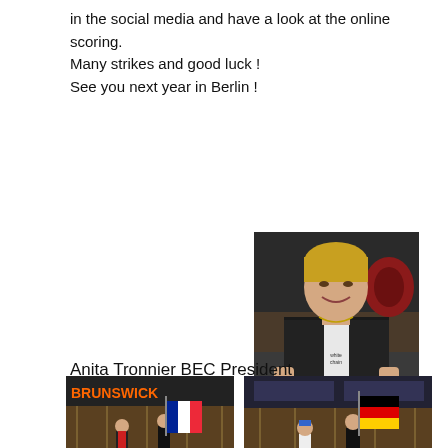in the social media and have a look at the online scoring.
Many strikes and good luck !
See you next year in Berlin !
[Figure (photo): Portrait photo of a smiling woman with short blonde hair, wearing a black vest over a white shirt, standing behind a desk with papers, at a bowling venue.]
Anita Tronnier BEC President
[Figure (photo): Two people carrying a French flag on a bowling lane, with a sign reading FRANCE.]
[Figure (photo): Two people carrying a German flag on a bowling lane, with a sign reading GERMANY.]